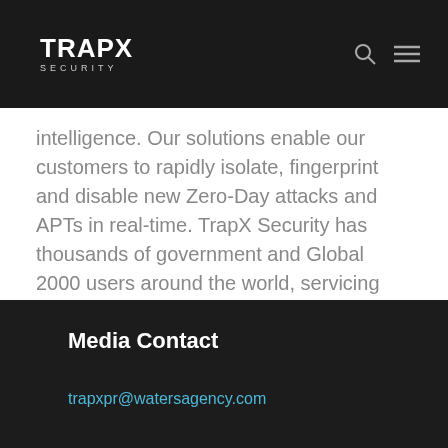TRAPX SECURITY
intelligence. Our solutions enable our customers to rapidly isolate, fingerprint and disable new Zero-Day attacks and APTs in real-time. TrapX Security has thousands of government and Global 2000 users around the world, servicing customers in manufacturing, defense, healthcare, finance, energy, consumer products and other key industries. For more information, visit www.trapx.com.
Media Contact
trapxpr@watersagency.com